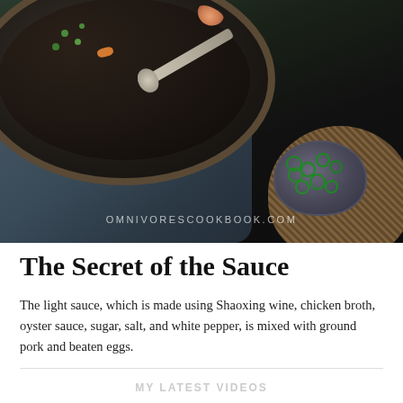[Figure (photo): Dark moody overhead food photo of a wok or pan with shrimp, peas, carrots and other ingredients, a metal spoon resting in it, a blue-grey fabric napkin underneath, a woven basket bowl in the top right, and a small grey ceramic bowl filled with sliced green scallions in the bottom right. Watermark reads OMNIVORESCOOKBOOK.COM.]
The Secret of the Sauce
The light sauce, which is made using Shaoxing wine, chicken broth, oyster sauce, sugar, salt, and white pepper, is mixed with ground pork and beaten eggs.
MY LATEST VIDEOS